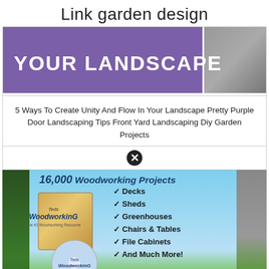Link garden design
[Figure (illustration): Purple banner with text 'YOUR LANDSCAPE' on left, photo of outdoor scene on right]
5 Ways To Create Unity And Flow In Your Landscape Pretty Purple Door Landscaping Tips Front Yard Landscaping Diy Garden Projects
[Figure (infographic): Advertisement for '16,000 Woodworking Projects' (Ted's Woodworking) featuring a product box, DVD, man with woodworking project, checklist of Decks, Sheds, Greenhouses, Chairs & Tables, File Cabinets, And Much More!, #1 Recommended badge, and Download Your Plans Now button]